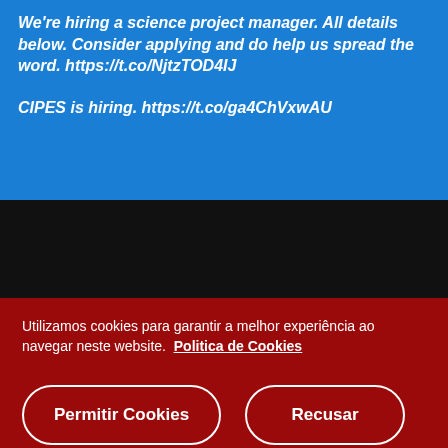We're hiring a science project manager. All details below. Consider applying and do help us spread the word. https://t.co/NjtzTOD4IJ
CIPES is hiring. https://t.co/ga4ChVxwAU
Utilizamos cookies para garantir a melhor experiência ao navegar neste website. Politica de Cookies
Permitir Cookies
Recusar